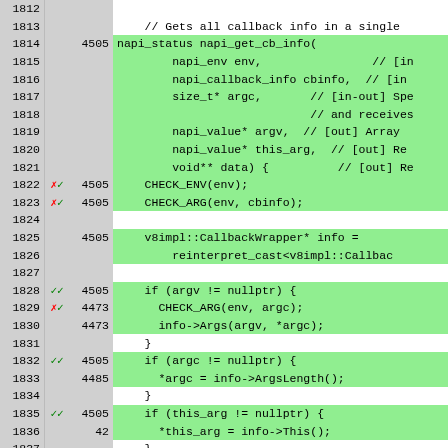[Figure (screenshot): Code coverage viewer showing lines 1812-1838 of a C++ source file (napi_get_cb_info function). Each row has line number, coverage mark (checkmarks/X marks), execution count, and source code. Lines with coverage are highlighted green, uncovered lines are white or yellow.]